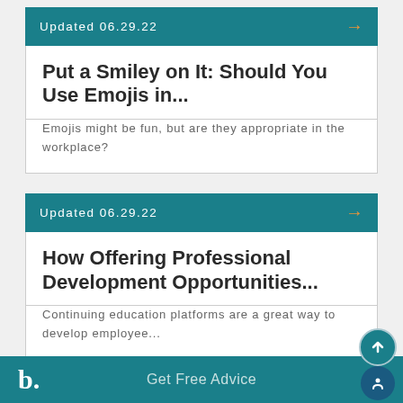Updated 06.29.22
Put a Smiley on It: Should You Use Emojis in...
Emojis might be fun, but are they appropriate in the workplace?
Updated 06.29.22
How Offering Professional Development Opportunities...
Continuing education platforms are a great way to develop employee...
b. Get Free Advice